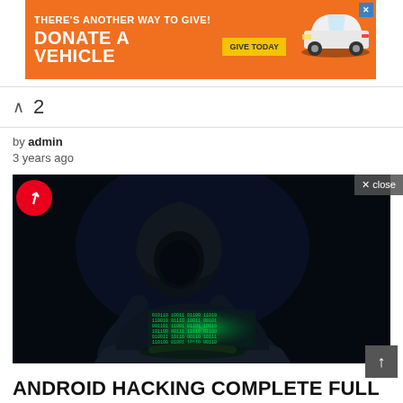[Figure (infographic): Orange advertisement banner: THERE'S ANOTHER WAY TO GIVE! DONATE A VEHICLE - GIVE TODAY, with white car silhouette and blue X close button]
by admin
3 years ago
[Figure (photo): Dark silhouette of a hooded hacker figure typing on a laptop with green matrix-like code on the screen, in a very dark room]
ANDROID HACKING COMPLETE FULL